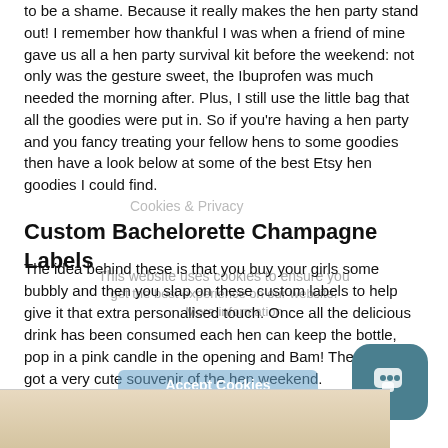to be a shame. Because it really makes the hen party stand out! I remember how thankful I was when a friend of mine gave us all a hen party survival kit before the weekend: not only was the gesture sweet, the Ibuprofen was much needed the morning after. Plus, I still use the little bag that all the goodies were put in. So if you're having a hen party and you fancy treating your fellow hens to some goodies then have a look below at some of the best Etsy hen goodies I could find.
Custom Bachelorette Champagne Labels
The idea behind these is that you buy your girls some bubbly and then you slap on these custom labels to help give it that extra personalised touch. Once all the delicious drink has been consumed each hen can keep the bottle, pop in a pink candle in the opening and Bam! They've now got a very cute souvenir of the hen weekend.
See HERE
[Figure (photo): Bottom strip showing a wooden surface with champagne bottle, partial view]